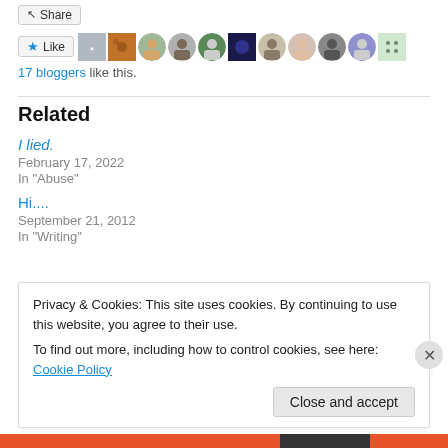[Figure (screenshot): Share button at top]
[Figure (screenshot): Like button with star icon and row of blogger avatars]
17 bloggers like this.
Related
I lied.
February 17, 2022
In "Abuse"
Hi....
September 21, 2012
In "Writing"
Privacy & Cookies: This site uses cookies. By continuing to use this website, you agree to their use.
To find out more, including how to control cookies, see here: Cookie Policy